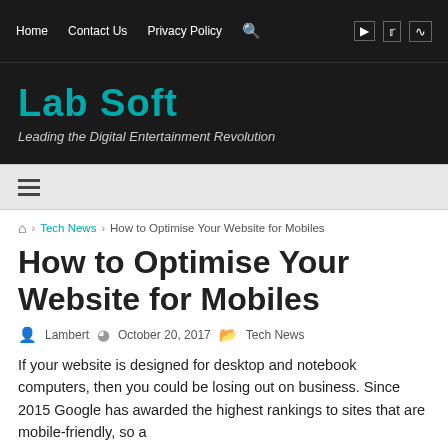Home   Contact Us   Privacy Policy   [search icon]   [youtube icon]   [twitter icon]   [rss icon]
Lab Soft
Leading the Digital Entertainment Revolution
≡
🏠 › Tech News › How to Optimise Your Website for Mobiles
How to Optimise Your Website for Mobiles
Lambert   October 20, 2017   Tech News
If your website is designed for desktop and notebook computers, then you could be losing out on business. Since 2015 Google has awarded the highest rankings to sites that are mobile-friendly, so a